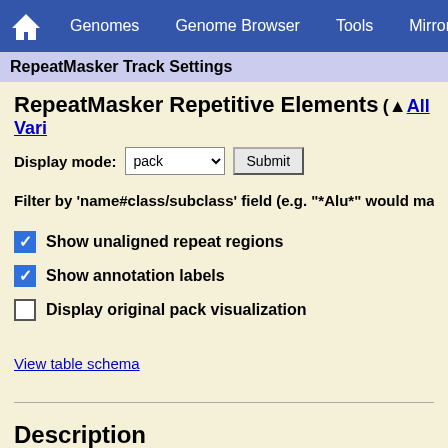Genomes  Genome Browser  Tools  Mirrors
RepeatMasker Track Settings
RepeatMasker Repetitive Elements  (▲All Vari…
Display mode: pack  Submit
Filter by 'name#class/subclass' field (e.g. "*Alu*" would ma…
☑ Show unaligned repeat regions
☑ Show annotation labels
☐ Display original pack visualization
View table schema
Description